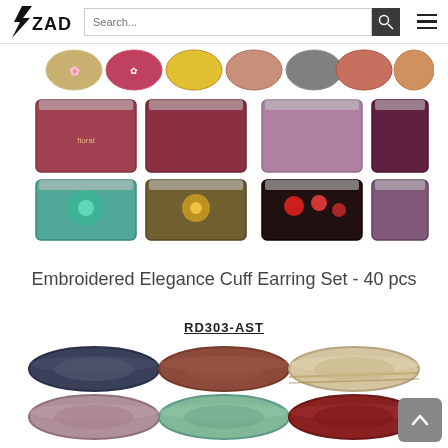ZAD — navigation bar with logo, search field, and hamburger menu
[Figure (photo): Grid of colorful embroidered cuff earrings in floral patterns — assorted designs arranged in rows]
Embroidered Elegance Cuff Earring Set - 40 pcs
RD303-AST
[Figure (photo): Grid of stone/gemstone bangle bracelets in various colors: dark blue, terracotta/brown, striped cream, mauve/pink, mint green, dark red, blue marble, black, white marble]